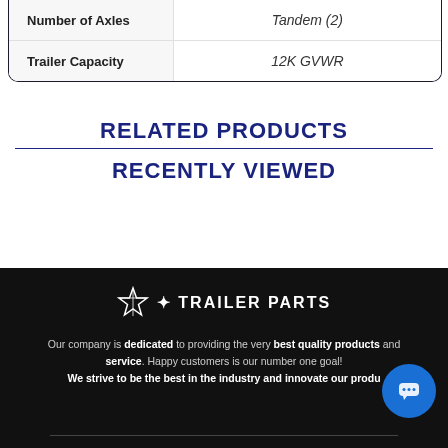|  |  |
| --- | --- |
| Number of Axles | Tandem (2) |
| Trailer Capacity | 12K GVWR |
RELATED PRODUCTS
RECENTLY VIEWED
[Figure (logo): Trailer Parts logo with star icon on black footer]
Our company is dedicated to providing the very best quality products and service. Happy customers is our number one goal! We strive to be the best in the industry and innovate our produ...